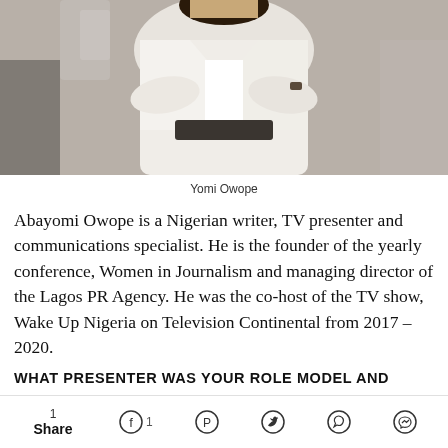[Figure (photo): Photo of Yomi Owope wearing a white coat, arms crossed, indoor setting]
Yomi Owope
Abayomi Owope is a Nigerian writer, TV presenter and communications specialist. He is the founder of the yearly conference, Women in Journalism and managing director of the Lagos PR Agency. He was the co-host of the TV show, Wake Up Nigeria on Television Continental from 2017 – 2020.
WHAT PRESENTER WAS YOUR ROLE MODEL AND
1 Share  [Facebook] 1  [Pinterest]  [Twitter]  [WhatsApp]  [Messenger]